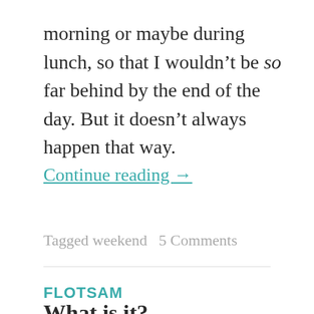morning or maybe during lunch, so that I wouldn't be so far behind by the end of the day. But it doesn't always happen that way.
Continue reading →
Tagged weekend   5 Comments
FLOTSAM
What is it?